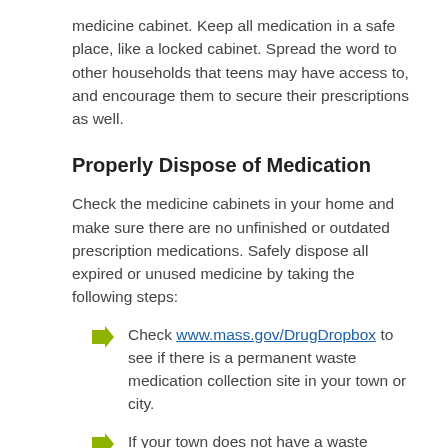medicine cabinet. Keep all medication in a safe place, like a locked cabinet. Spread the word to other households that teens may have access to, and encourage them to secure their prescriptions as well.
Properly Dispose of Medication
Check the medicine cabinets in your home and make sure there are no unfinished or outdated prescription medications. Safely dispose all expired or unused medicine by taking the following steps:
Check www.mass.gov/DrugDropbox to see if there is a permanent waste medication collection site in your town or city.
If your town does not have a waste medication collection site, certain medications can be flushed down the